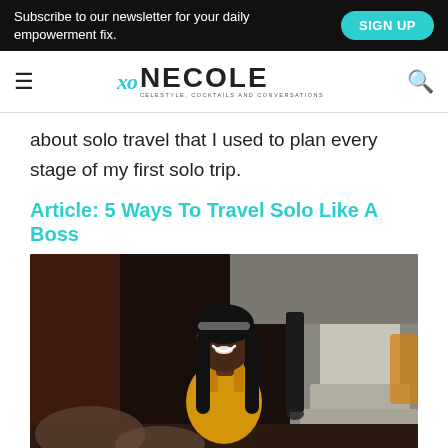Subscribe to our newsletter for your daily empowerment fix.  SIGN UP
xo NECOLE – Celestyle, Cocktails and Conversations
about solo travel that I used to plan every stage of my first solo trip.
Article: 5 Ways To Travel Solo Like A Boss
[Figure (photo): A smiling young Black woman with long dark hair and a headband, wearing a yellow top, seated outdoors near a decorative stone structure with warm ambient lighting in the background.]